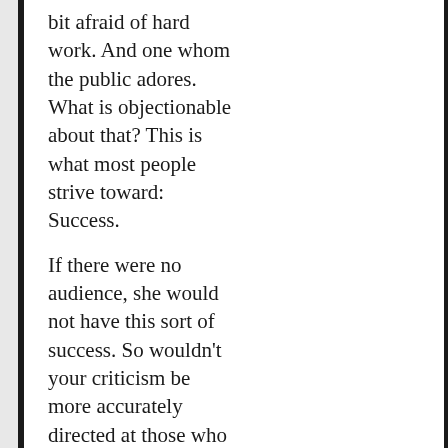bit afraid of hard work. And one whom the public adores. What is objectionable about that? This is what most people strive toward: Success.
If there were no audience, she would not have this sort of success. So wouldn't your criticism be more accurately directed at those who pony up to